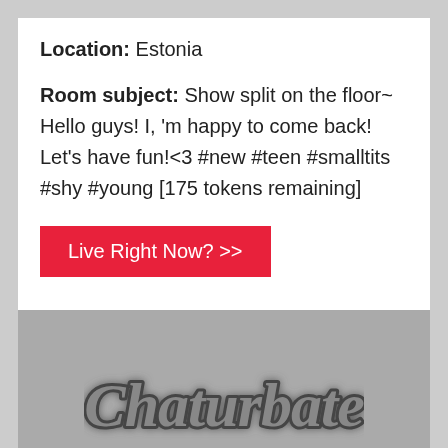Location: Estonia
Room subject: Show split on the floor~ Hello guys! I, 'm happy to come back! Let's have fun!<3 #new #teen #smalltits #shy #young [175 tokens remaining]
[Figure (other): Red button labeled 'Live Right Now? >>']
[Figure (logo): Chaturbate logo on grey background]